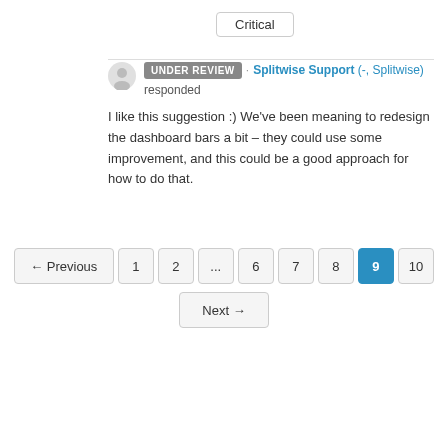Critical
UNDER REVIEW · Splitwise Support (-, Splitwise) responded
I like this suggestion :) We've been meaning to redesign the dashboard bars a bit – they could use some improvement, and this could be a good approach for how to do that.
← Previous  1  2  ...  6  7  8  9  10  Next →